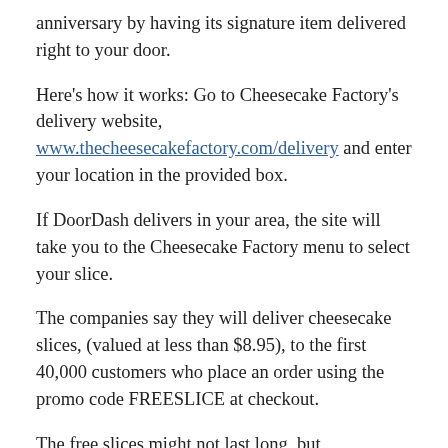anniversary by having its signature item delivered right to your door.
Here's how it works: Go to Cheesecake Factory's delivery website, www.thecheesecakefactory.com/delivery and enter your location in the provided box.
If DoorDash delivers in your area, the site will take you to the Cheesecake Factory menu to select your slice.
The companies say they will deliver cheesecake slices, (valued at less than $8.95), to the first 40,000 customers who place an order using the promo code FREESLICE at checkout.
The free slices might not last long, but Cheesecake Factory says it will keep giving them away until they